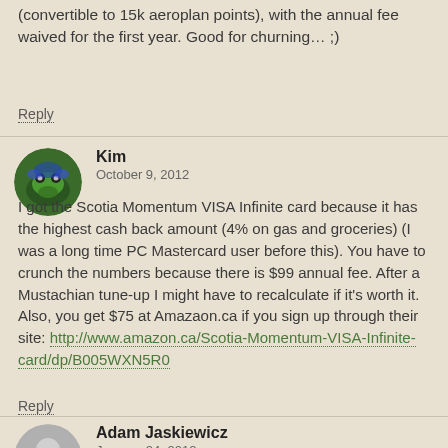(convertible to 15k aeroplan points), with the annual fee waived for the first year. Good for churning… ;)
Reply
[Figure (photo): Circular avatar of user Kim showing a blue frog on green background]
Kim
October 9, 2012
I got the Scotia Momentum VISA Infinite card because it has the highest cash back amount (4% on gas and groceries) (I was a long time PC Mastercard user before this). You have to crunch the numbers because there is $99 annual fee. After a Mustachian tune-up I might have to recalculate if it's worth it. Also, you get $75 at Amazaon.ca if you sign up through their site: http://www.amazon.ca/Scotia-Momentum-VISA-Infinite-card/dp/B005WXN5R0
Reply
[Figure (illustration): Circular gray avatar placeholder for user Adam Jaskiewicz]
Adam Jaskiewicz
January 24, 2012